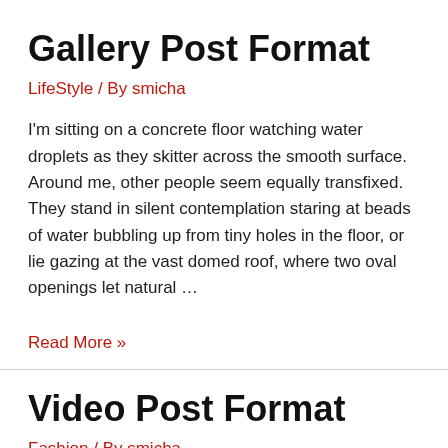Gallery Post Format
LifeStyle / By smicha
I'm sitting on a concrete floor watching water droplets as they skitter across the smooth surface. Around me, other people seem equally transfixed. They stand in silent contemplation staring at beads of water bubbling up from tiny holes in the floor, or lie gazing at the vast domed roof, where two oval openings let natural …
Read More »
Video Post Format
Fashion / By smicha
I'm sitting on a concrete floor watching water droplets as they skitter across the smooth surface. Around me,